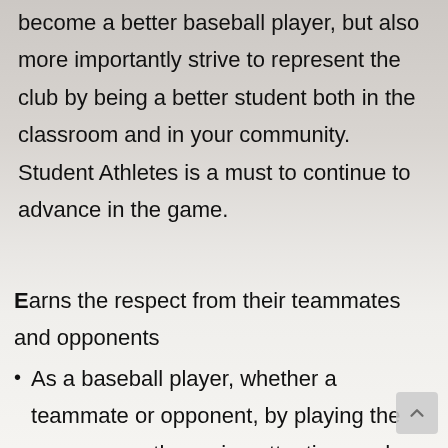become a better baseball player, but also more importantly strive to represent the club by being a better student both in the classroom and in your community. Student Athletes is a must to continue to advance in the game.
Earns the respect from their teammates and opponents
As a baseball player, whether a teammate or opponent, by playing the game correctly, paying attention, and